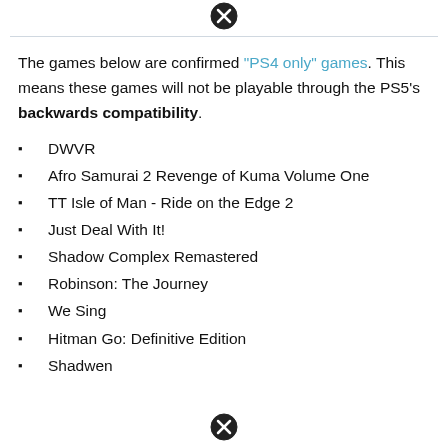The games below are confirmed "PS4 only" games. This means these games will not be playable through the PS5's backwards compatibility.
DWVR
Afro Samurai 2 Revenge of Kuma Volume One
TT Isle of Man - Ride on the Edge 2
Just Deal With It!
Shadow Complex Remastered
Robinson: The Journey
We Sing
Hitman Go: Definitive Edition
Shadwen